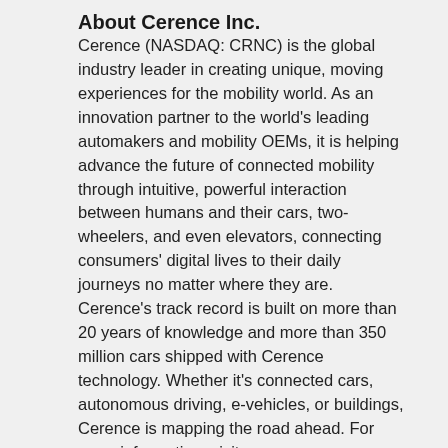About Cerence Inc.
Cerence (NASDAQ: CRNC) is the global industry leader in creating unique, moving experiences for the mobility world. As an innovation partner to the world's leading automakers and mobility OEMs, it is helping advance the future of connected mobility through intuitive, powerful interaction between humans and their cars, two-wheelers, and even elevators, connecting consumers' digital lives to their daily journeys no matter where they are. Cerence's track record is built on more than 20 years of knowledge and more than 350 million cars shipped with Cerence technology. Whether it's connected cars, autonomous driving, e-vehicles, or buildings, Cerence is mapping the road ahead. For more information, visit www.cerence.com